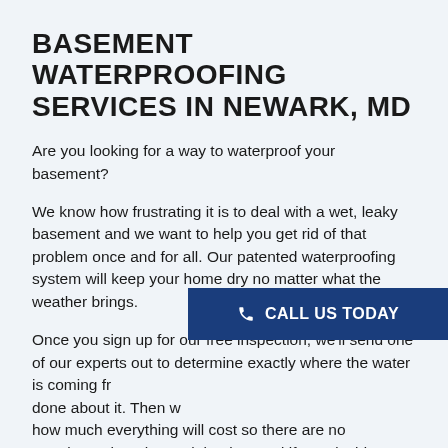BASEMENT WATERPROOFING SERVICES IN NEWARK, MD
Are you looking for a way to waterproof your basement?
We know how frustrating it is to deal with a wet, leaky basement and we want to help you get rid of that problem once and for all. Our patented waterproofing system will keep your home dry no matter what the weather brings.
Once you sign up for our free inspection, we'll send one of our experts out to determine exactly where the water is coming from and what needs to be done about it. Then we'll give you a detailed quote of how much everything will cost so there are no surprises when the work begins! And if you decide not to move forward right away, don't worry – we
[Figure (other): Dark blue call-to-action button overlay reading 'CALL US TODAY' with a phone icon]